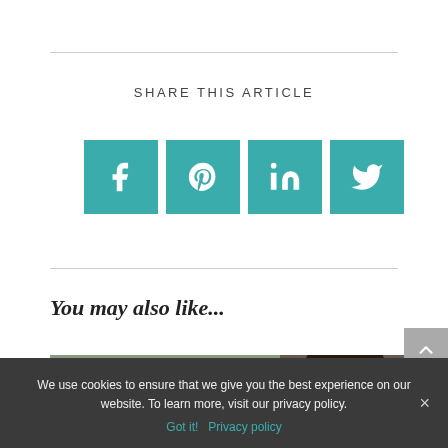SHARE THIS ARTICLE
[Figure (infographic): Four teal social sharing buttons: Facebook (f), Pinterest (p), LinkedIn (in), Twitter (bird icon)]
You may also like...
[Figure (photo): Collage of money bills on the left and a woman's face on the right]
We use cookies to ensure that we give you the best experience on our website. To learn more, visit our privacy policy.
Got it!  Privacy policy